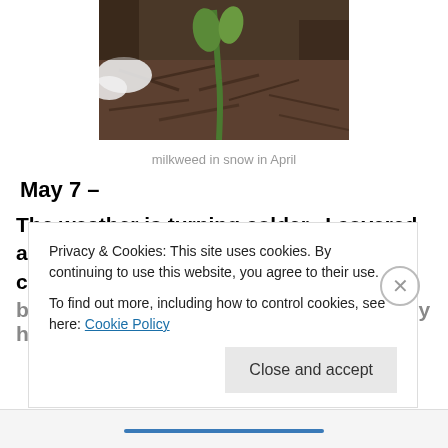[Figure (photo): Close-up photo of a milkweed plant sprouting through mulch with snow visible]
milkweed in snow in April
May 7 –
The weather is turning colder.  I covered as many plants at Lakeland Manor as I could with seed blanket and sheets.  It snowed and lightly hailed
Privacy & Cookies: This site uses cookies. By continuing to use this website, you agree to their use.
To find out more, including how to control cookies, see here: Cookie Policy
Close and accept